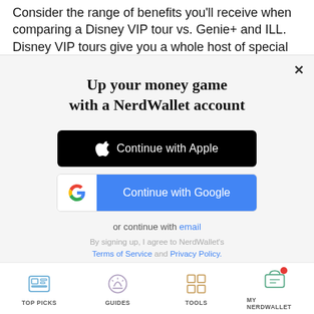Consider the range of benefits you'll receive when comparing a Disney VIP tour vs. Genie+ and ILL. Disney VIP tours give you a whole host of special
[Figure (screenshot): NerdWallet modal popup with title 'Up your money game with a NerdWallet account', showing Continue with Apple button (black), Continue with Google button (blue/white), and email sign-in option with terms of service links]
TOP PICKS  GUIDES  TOOLS  MY NERDWALLET